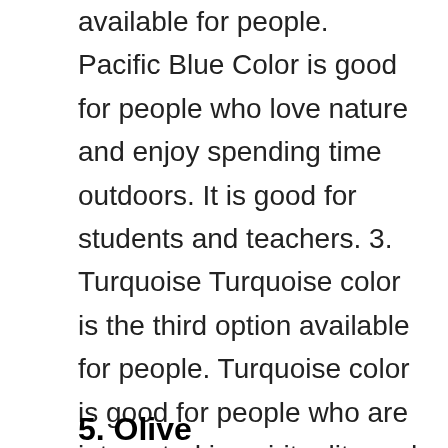available for people. Pacific Blue Color is good for people who love nature and enjoy spending time outdoors. It is good for students and teachers. 3. Turquoise Turquoise color is the third option available for people. Turquoise color is good for people who are interested in spirituality and meditation. It is good for artists and writers.
5. Olive